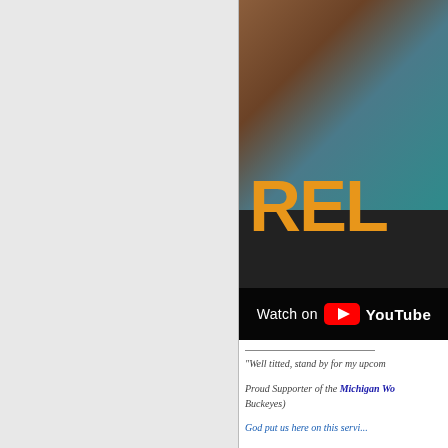[Figure (screenshot): A partial screenshot of a webpage showing a YouTube video thumbnail on the right half. The thumbnail shows a person sitting on a leather couch wearing a teal shirt, with large orange letters 'REL' visible. Below the thumbnail is a 'Watch on YouTube' bar. Below the video are text snippets including a quote and supporter text mentioning Michigan and Buckeyes.]
"Well titted, stand by for my upcom...
Proud Supporter of the Michigan Wo... Buckeyes)
God put us here on this servi...